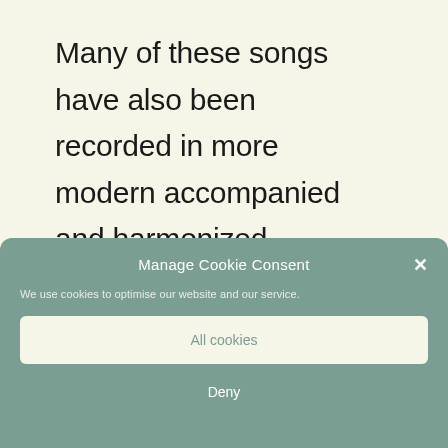Many of these songs have also been recorded in more modern accompanied and harmonized arrangements by groups such as Altan
Manage Cookie Consent
We use cookies to optimise our website and our service.
All cookies
Deny